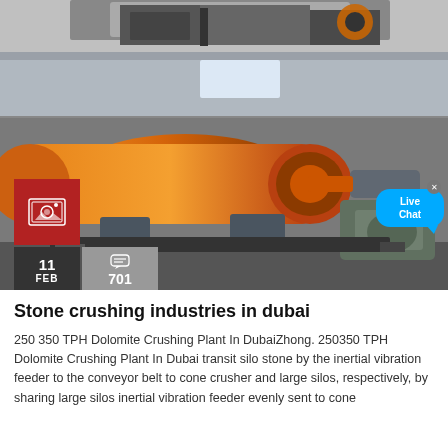[Figure (photo): Top partial image of stone crushing / jaw crusher equipment, dark industrial machinery against grey background.]
[Figure (photo): Main photo of an industrial ball mill or rotary drum (large orange/brown cylindrical machine) inside a warehouse/industrial shed, with heavy mechanical components visible.]
Stone crushing industries in dubai
250 350 TPH Dolomite Crushing Plant In DubaiZhong. 250350 TPH Dolomite Crushing Plant In Dubai transit silo stone by the inertial vibration feeder to the conveyor belt to cone crusher and large silos, respectively, by sharing large silos inertial vibration feeder evenly sent to cone